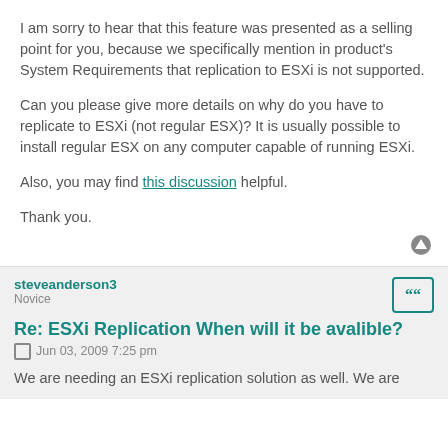I am sorry to hear that this feature was presented as a selling point for you, because we specifically mention in product's System Requirements that replication to ESXi is not supported.
Can you please give more details on why do you have to replicate to ESXi (not regular ESX)? It is usually possible to install regular ESX on any computer capable of running ESXi.
Also, you may find this discussion helpful.
Thank you.
steveanderson3
Novice
Re: ESXi Replication When will it be avalible?
Jun 03, 2009 7:25 pm
We are needing an ESXi replication solution as well. We are